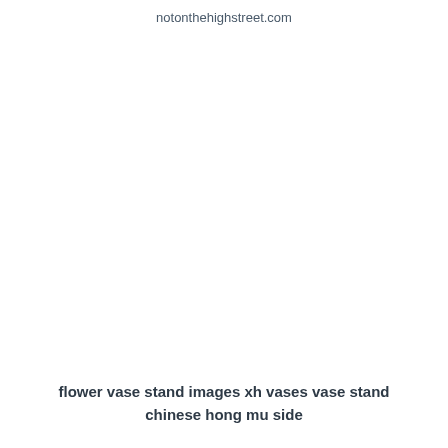notonthehighstreet.com
flower vase stand images xh vases vase stand chinese hong mu side